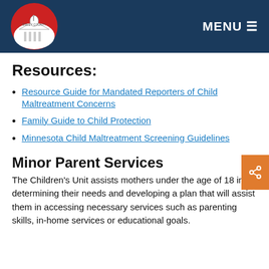Sibley County — MENU
Resources:
Resource Guide for Mandated Reporters of Child Maltreatment Concerns
Family Guide to Child Protection
Minnesota Child Maltreatment Screening Guidelines
Minor Parent Services
The Children's Unit assists mothers under the age of 18 in determining their needs and developing a plan that will assist them in accessing necessary services such as parenting skills, in-home services or educational goals.